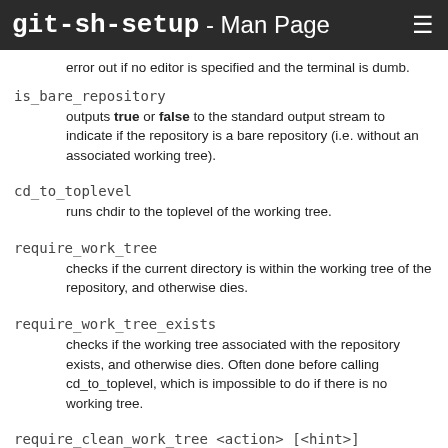git-sh-setup - Man Page ☰
error out if no editor is specified and the terminal is dumb.
is_bare_repository
outputs true or false to the standard output stream to indicate if the repository is a bare repository (i.e. without an associated working tree).
cd_to_toplevel
runs chdir to the toplevel of the working tree.
require_work_tree
checks if the current directory is within the working tree of the repository, and otherwise dies.
require_work_tree_exists
checks if the working tree associated with the repository exists, and otherwise dies. Often done before calling cd_to_toplevel, which is impossible to do if there is no working tree.
require_clean_work_tree <action> [<hint>]